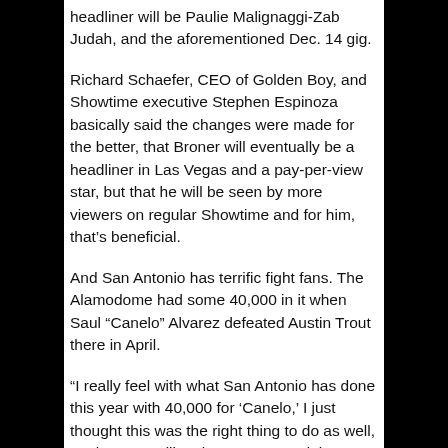headliner will be Paulie Malignaggi-Zab Judah, and the aforementioned Dec. 14 gig.
Richard Schaefer, CEO of Golden Boy, and Showtime executive Stephen Espinoza basically said the changes were made for the better, that Broner will eventually be a headliner in Las Vegas and a pay-per-view star, but that he will be seen by more viewers on regular Showtime and for him, that’s beneficial.
And San Antonio has terrific fight fans. The Alamodome had some 40,000 in it when Saul “Canelo” Alvarez defeated Austin Trout there in April.
“I really feel with what San Antonio has done this year with 40,000 for ‘Canelo,’ I just thought this was the right thing to do as well, not just cancelling the Nov. 30 card, but rewarding San Antonio with another big card,” Schaefer said.
The Nov. 30 headliner was to feature Devon Alexander